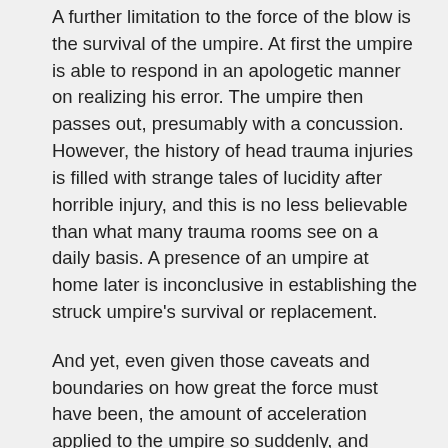A further limitation to the force of the blow is the survival of the umpire. At first the umpire is able to respond in an apologetic manner on realizing his error. The umpire then passes out, presumably with a concussion. However, the history of head trauma injuries is filled with strange tales of lucidity after horrible injury, and this is no less believable than what many trauma rooms see on a daily basis. A presence of an umpire at home later is inconclusive in establishing the struck umpire's survival or replacement.
And yet, even given those caveats and boundaries on how great the force must have been, the amount of acceleration applied to the umpire so suddenly, and without noticeably harming the catcher at all, testifies to the physical condition and hardiness of the Gorilla players.